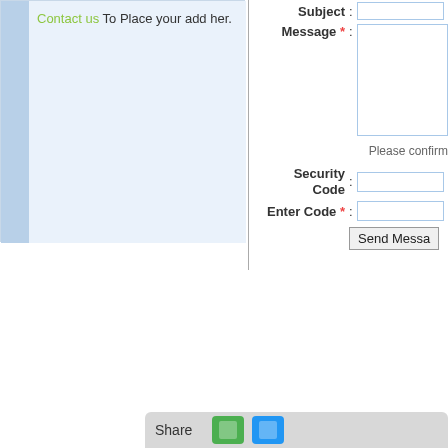Contact us To Place your add her.
Subject :
Message * :
Please confirm
Security Code :
Enter Code * :
Send Messa
Share